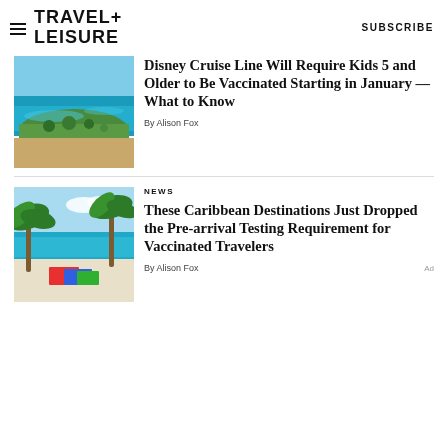TRAVEL+ LEISURE   SUBSCRIBE
[Figure (photo): Aerial view of a tropical island with turquoise water and resort]
Disney Cruise Line Will Require Kids 5 and Older to Be Vaccinated Starting in January — What to Know
By Alison Fox
[Figure (photo): Tropical beach scene with palm trees, white sand, and colorful beach towels]
NEWS
These Caribbean Destinations Just Dropped the Pre-arrival Testing Requirement for Vaccinated Travelers
By Alison Fox